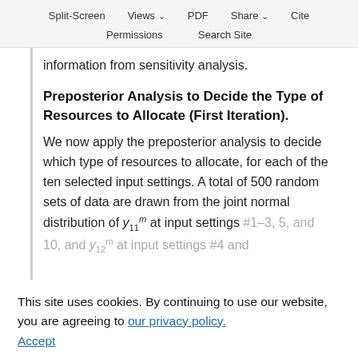Split-Screen  Views  PDF  Share  Cite  Permissions  Search Site
information from sensitivity analysis.
Preposterior Analysis to Decide the Type of Resources to Allocate (First Iteration).
We now apply the preposterior analysis to decide which type of resources to allocate, for each of the ten selected input settings. A total of 500 random sets of data are drawn from the joint normal distribution of y^m_11 at input settings #1–3, 5, and 10, and y^m_12 at input settings #4 and …, when composed … approximation data (a 500 × n_0 matrix). This joint distribution comes from the GP models of y^m_11 and y^m_12 built in
This site uses cookies. By continuing to use our website, you are agreeing to our privacy policy. Accept